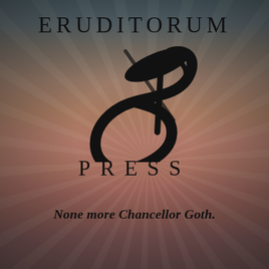[Figure (logo): Eruditorum Press logo page with stylized 'EP' monogram logo, background of a painted scene with muted reddish-brown tones and light rays, overlaid with publisher name and tagline]
ERUDITORUM
[Figure (logo): Stylized EP monogram: a large sweeping C-shaped curve with a pen/quill-like element crossing through it forming E and P letterforms in black]
PRESS
None more Chancellor Goth.